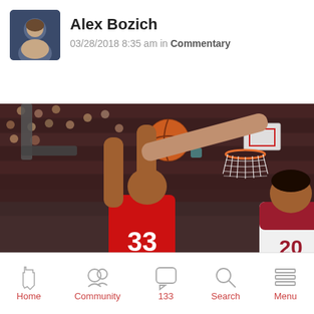Alex Bozich — 03/28/2018 8:35 am in Commentary
[Figure (photo): Basketball game action photo showing two players (number 33 in red, Youngstown State, and number 20 in white/maroon) competing for the ball near the basket in a packed arena]
Home | Community | 133 | Search | Menu